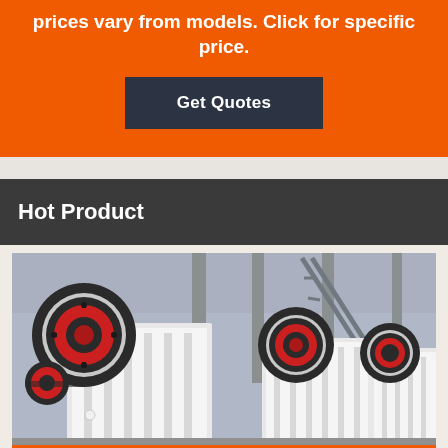prices vary from models. Click for specific price.
Get Quotes
Hot Product
[Figure (photo): Industrial jaw crusher machines on factory floor, white bodies with red and black flywheel discs, multiple units in a manufacturing facility]